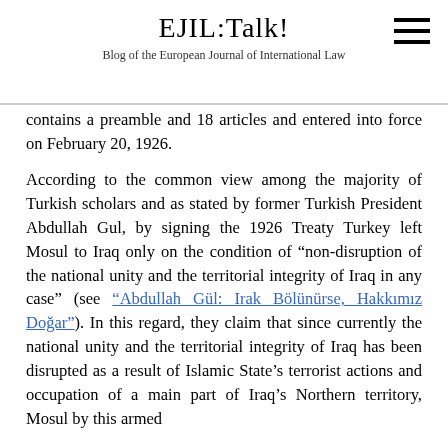EJIL:Talk!
Blog of the European Journal of International Law
contains a preamble and 18 articles and entered into force on February 20, 1926.
According to the common view among the majority of Turkish scholars and as stated by former Turkish President Abdullah Gul, by signing the 1926 Treaty Turkey left Mosul to Iraq only on the condition of “non-disruption of the national unity and the territorial integrity of Iraq in any case” (see “Abdullah Gül: Irak Bölünürse, Hakkımız Doğar”). In this regard, they claim that since currently the national unity and the territorial integrity of Iraq has been disrupted as a result of Islamic State’s terrorist actions and occupation of a main part of Iraq’s Northern territory, Mosul by this armed